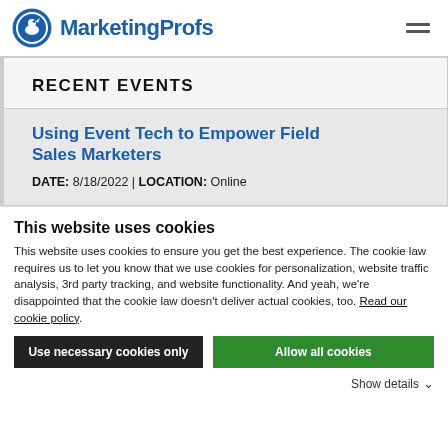MarketingProfs
RECENT EVENTS
Using Event Tech to Empower Field Sales Marketers
DATE: 8/18/2022 | LOCATION: Online
This website uses cookies
This website uses cookies to ensure you get the best experience. The cookie law requires us to let you know that we use cookies for personalization, website traffic analysis, 3rd party tracking, and website functionality. And yeah, we're disappointed that the cookie law doesn't deliver actual cookies, too. Read our cookie policy.
Use necessary cookies only
Allow all cookies
Show details